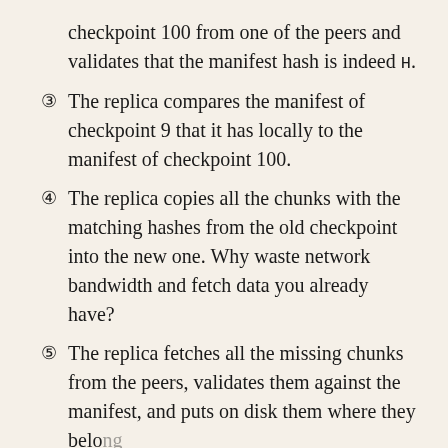checkpoint 100 from one of the peers and validates that the manifest hash is indeed H.
③ The replica compares the manifest of checkpoint 9 that it has locally to the manifest of checkpoint 100.
④ The replica copies all the chunks with the matching hashes from the old checkpoint into the new one. Why waste network bandwidth and fetch data you already have?
⑤ The replica fetches all the missing chunks from the peers, validates them against the manifest, and puts on disk them where they belong.